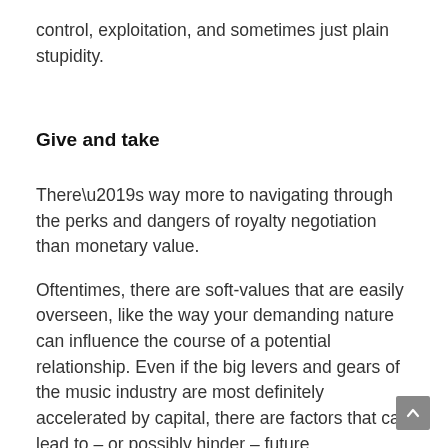control, exploitation, and sometimes just plain stupidity.
Give and take
There’s way more to navigating through the perks and dangers of royalty negotiation than monetary value.
Oftentimes, there are soft-values that are easily overseen, like the way your demanding nature can influence the course of a potential relationship. Even if the big levers and gears of the music industry are most definitely accelerated by capital, there are factors that can lead to – or possibly hinder – future